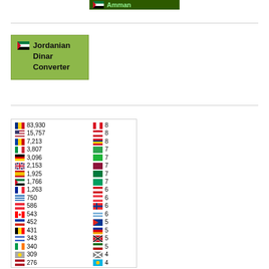[Figure (screenshot): Dark green banner with flag and 'Amman' text]
[Figure (screenshot): Jordanian Dinar Converter button with flag]
| Flag | Count | Flag | Count |
| --- | --- | --- | --- |
| [RO] | 83,930 | [PE] | 8 |
| [US] | 15,757 | [EG] | 8 |
| [MD] | 7,213 | [VE] | 8 |
| [IT] | 3,807 | [TM] | 7 |
| [DE] | 3,096 | [TZ] | 7 |
| [GB] | 2,153 | [LK] | 7 |
| [ES] | 1,925 | [TZ] | 7 |
| [JO] | 1,766 | [GY] | 7 |
| [FR] | 1,263 | [BY] | 6 |
| [GR] | 750 | [SG] | 6 |
| [AT] | 586 | [NO] | 6 |
| [CA] | 543 | [UY] | 6 |
| [RU] | 452 | [NP] | 5 |
| [BE] | 431 | [AM] | 5 |
| [IL] | 343 | [TT] | 5 |
| [IE] | 340 | [KE] | 5 |
| [KZ2] | 309 | [MULT] | 4 |
| [NL] | 276 | [KZ] | 4 |
| [TR] | 238 | [VEN2] | 4 |
| [SE] | 216 | [LV] | 4 |
| ? | ? | ? | 4 |